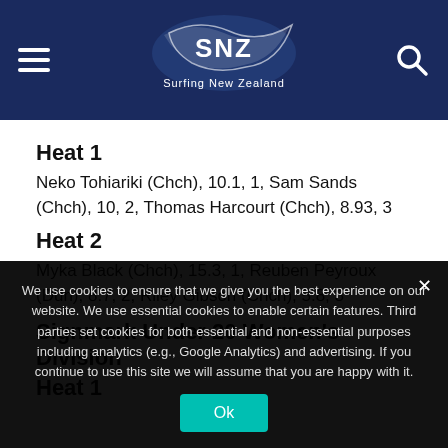Surfing New Zealand
Heat 1
Neko Tohiariki (Chch), 10.1, 1, Sam Sands (Chch), 10, 2, Thomas Harcourt (Chch), 8.93, 3
Heat 2
Myka Black (Chch), 15.3, 1, Reuben Peyroux (Dun), 8.7, 2, Riley Gibson (Chch), 5.8, 3
Signmark Under 20 Women's Division
Heat 1
We use cookies to ensure that we give you the best experience on our website. We use essential cookies to enable certain features. Third parties set cookies for both essential and non-essential purposes including analytics (e.g., Google Analytics) and advertising. If you continue to use this site we will assume that you are happy with it.